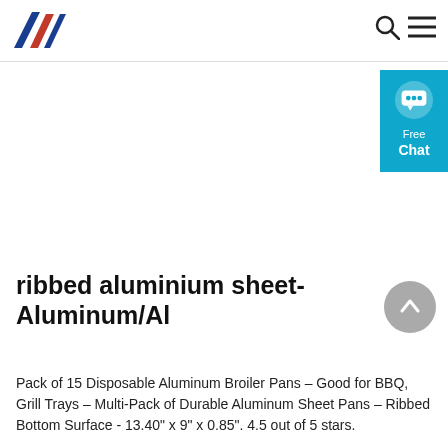ribbed aluminium sheet- Aluminum/Al
[Figure (logo): AM logo with blue and red triangular chevrons]
[Figure (infographic): Free Chat widget button in cyan/teal]
ribbed aluminium sheet- Aluminum/Al
Pack of 15 Disposable Aluminum Broiler Pans – Good for BBQ, Grill Trays – Multi-Pack of Durable Aluminum Sheet Pans – Ribbed Bottom Surface - 13.40" x 9" x 0.85". 4.5 out of 5 stars.